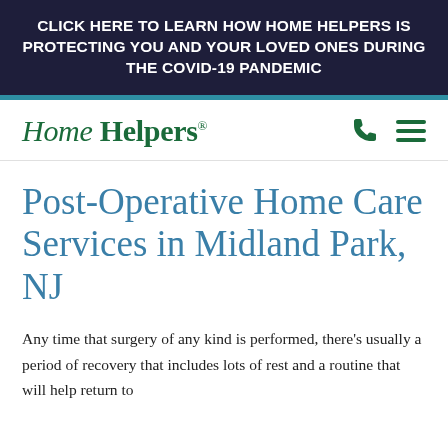CLICK HERE TO LEARN HOW HOME HELPERS IS PROTECTING YOU AND YOUR LOVED ONES DURING THE COVID-19 PANDEMIC
[Figure (logo): Home Helpers logo in green italic serif font with registered trademark symbol, alongside phone icon and hamburger menu icon]
Post-Operative Home Care Services in Midland Park, NJ
Any time that surgery of any kind is performed, there's usually a period of recovery that includes lots of rest and a routine that will help return to